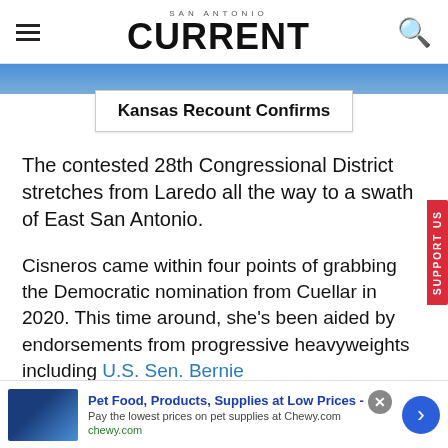SAN ANTONIO CURRENT
[Figure (photo): Partial photo strip at top of article]
Kansas Recount Confirms
The contested 28th Congressional District stretches from Laredo all the way to a swath of East San Antonio.
Cisneros came within four points of grabbing the Democratic nomination from Cuellar in 2020. This time around, she's been aided by endorsements from progressive heavyweights including U.S. Sen. Bernie
[Figure (screenshot): Advertisement: Pet Food, Products, Supplies at Low Prices - Chewy.com]